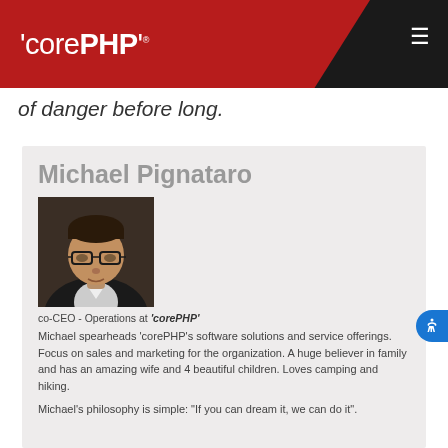'corePHP'
of danger before long.
Michael Pignataro
[Figure (photo): Professional headshot of Michael Pignataro, a man with dark hair and glasses wearing a suit jacket]
co-CEO - Operations at 'corePHP'
Michael spearheads ‘corePHP’s software solutions and service offerings. Focus on sales and marketing for the organization. A huge believer in family and has an amazing wife and 4 beautiful children. Loves camping and hiking.
Michael's philosophy is simple: "If you can dream it, we can do it".